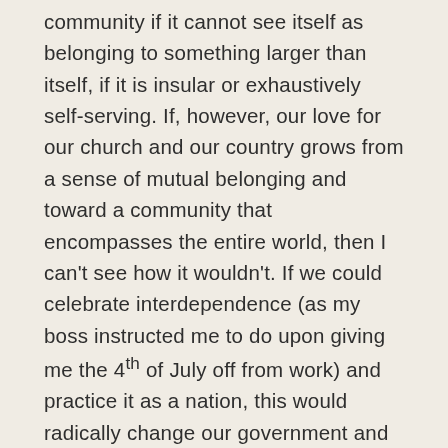community if it cannot see itself as belonging to something larger than itself, if it is insular or exhaustively self-serving. If, however, our love for our church and our country grows from a sense of mutual belonging and toward a community that encompasses the entire world, then I can't see how it wouldn't. If we could celebrate interdependence (as my boss instructed me to do upon giving me the 4th of July off from work) and practice it as a nation, this would radically change our government and our relationship with the rest of the world. If we could embody as a church the interdependence that we as a church teach, we could be that change – the Body of Christ building up the Kingdom.
“Community,” Nouwen writes, “is grounded in God, who calls us together… The mystery of